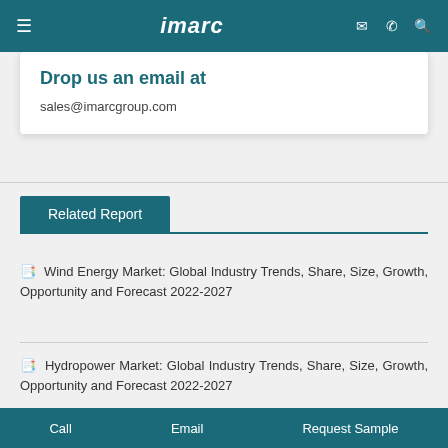imarc
Drop us an email at
sales@imarcgroup.com
Related Report
Wind Energy Market: Global Industry Trends, Share, Size, Growth, Opportunity and Forecast 2022-2027
Hydropower Market: Global Industry Trends, Share, Size, Growth, Opportunity and Forecast 2022-2027
Call   Email   Request Sample